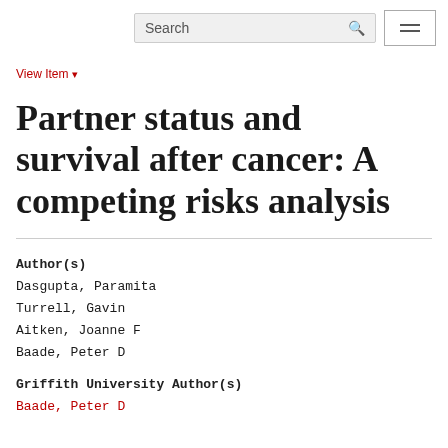Search [search icon] [menu]
View Item ▾
Partner status and survival after cancer: A competing risks analysis
Author(s)
Dasgupta, Paramita
Turrell, Gavin
Aitken, Joanne F
Baade, Peter D
Griffith University Author(s)
Baade, Peter D